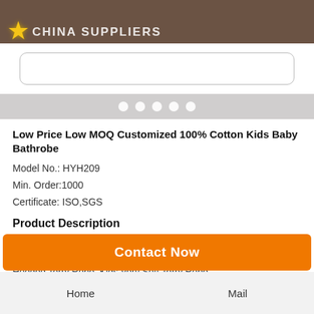CHINA SUPPLIERS
[Figure (screenshot): Search input box with rounded border]
[Figure (infographic): Navigation dots row (5 white dots on gray background)]
Low Price Low MOQ Customized 100% Cotton Kids Baby Bathrobe
Model No.: HYH209
Min. Order:1000
Certificate: ISO,SGS
Product Description
Low Price Low MOQ Customized 100% Cotton Kids Baby  Bathrobe,Kids Terry Fabric Cotton Bathrobe ,Zero-Twister Kids Hooded Terry Robe ,Kids Very Soft Terry Robe
Home    Mail